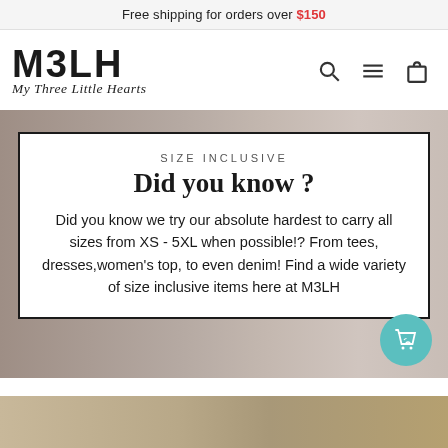Free shipping for orders over $150
[Figure (logo): M3LH My Three Little Hearts logo — bold block letters M3LH with cursive tagline below]
SIZE INCLUSIVE
Did you know ?
Did you know we try our absolute hardest to carry all sizes from XS - 5XL when possible!? From tees, dresses,women's top, to even denim! Find a wide variety of size inclusive items here at M3LH